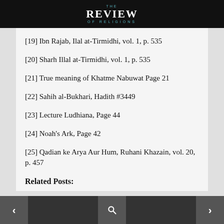THE REVIEW OF RELIGIONS
[19] Ibn Rajab, Ilal at-Tirmidhi, vol. 1, p. 535
[20] Sharh Illal at-Tirmidhi, vol. 1, p. 535
[21] True meaning of Khatme Nabuwat Page 21
[22] Sahih al-Bukhari, Hadith #3449
[23] Lecture Ludhiana, Page 44
[24] Noah's Ark, Page 42
[25] Qadian ke Arya Aur Hum, Ruhani Khazain, vol. 20, p. 457
Related Posts:
< [search] >